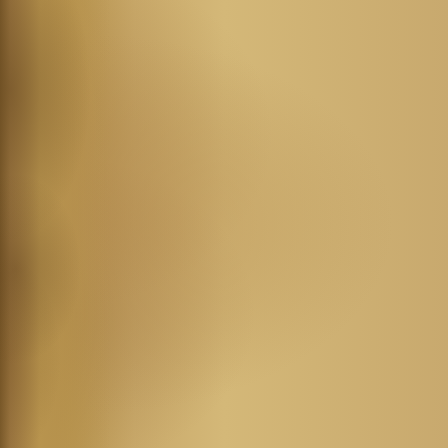Paul Gave Up His Rights
Rewards for Giving Up
Paul Becomes All Things
9:19-23
Value of Self-Discipline
Old Testament Example
Overconfidence   10:1-5
Old Testament Examples
Indulgence   10:6-10
Examples are Warning N
Temptation   10:11-13
Avoid Idol Feasts   10:14
Liberty Yields Forbearance